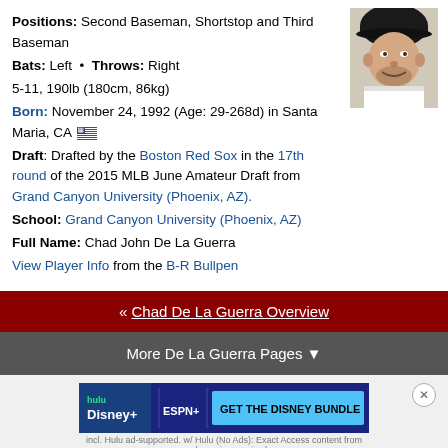Positions: Second Baseman, Shortstop and Third Baseman
Bats: Left • Throws: Right
5-11, 190lb (180cm, 86kg)
Born: November 24, 1992 (Age: 29-268d) in Santa Maria, CA
Draft: Drafted by the Boston Red Sox in the 17th round of the 2015 MLB June Amateur Draft from Grand Canyon University (Phoenix, AZ).
School: Grand Canyon University (Phoenix, AZ)
Full Name: Chad John De La Guerra
View Player Info from the B-R Bullpen
[Figure (photo): Headshot photo of Chad De La Guerra wearing a dark baseball cap]
« Chad De La Guerra Overview
More De La Guerra Pages ▼
[Figure (screenshot): Hulu Disney+ ESPN+ Get The Disney Bundle advertisement banner]
Player News
Add Your Blog Posts Here
Please! Rate my projections by/for fan Growth